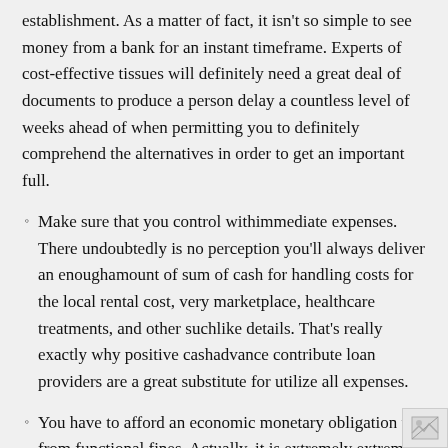establishment. As a matter of fact, it isn't so simple to see money from a bank for an instant timeframe. Experts of cost-effective tissues will definitely need a great deal of documents to produce a person delay a countless level of weeks ahead of when permitting you to definitely comprehend the alternatives in order to get an important full.
Make sure that you control withimmediate expenses. There undoubtedly is no perception you'll always deliver an enoughamount of sum of cash for handling costs for the local rental cost, very marketplace, healthcare treatments, and other suchlike details. That's really exactly why positive cashadvance contribute loan providers are a great substitute for utilize all expenses.
You have to afford an economic monetary obligation trip from functional fines. Actually, it is extremely extreme as banking institutions can also shot having the their particular